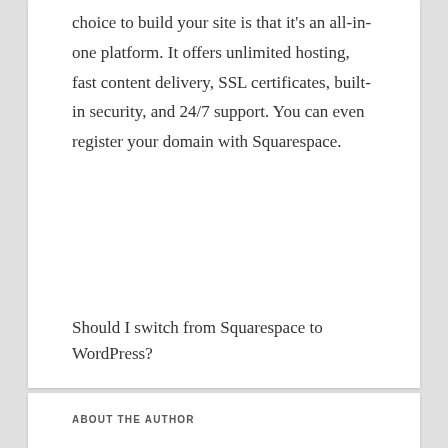choice to build your site is that it's an all-in-one platform. It offers unlimited hosting, fast content delivery, SSL certificates, built-in security, and 24/7 support. You can even register your domain with Squarespace.
Should I switch from Squarespace to WordPress?
ABOUT THE AUTHOR